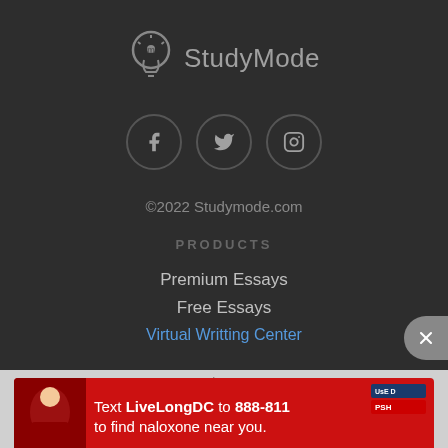[Figure (logo): StudyMode logo with lightbulb icon and text]
[Figure (illustration): Social media icons: Facebook, Twitter, Instagram in circular borders]
©2022 Studymode.com
PRODUCTS
Premium Essays
Free Essays
Virtual Writting Center
Book Notes
[Figure (infographic): Red advertisement banner: Text LiveLongDC to 888-811 to find naloxone near you]